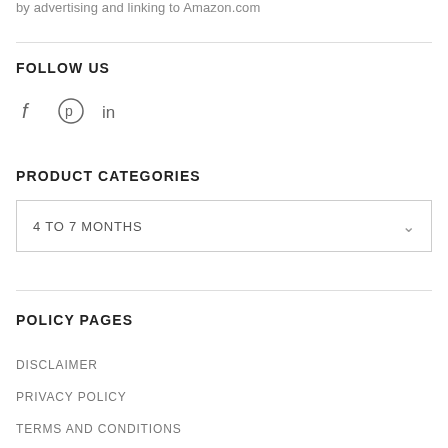by advertising and linking to Amazon.com
FOLLOW US
[Figure (illustration): Social media icons: Facebook (f), Pinterest (circle with p), LinkedIn (in)]
PRODUCT CATEGORIES
4 TO 7 MONTHS
POLICY PAGES
DISCLAIMER
PRIVACY POLICY
TERMS AND CONDITIONS